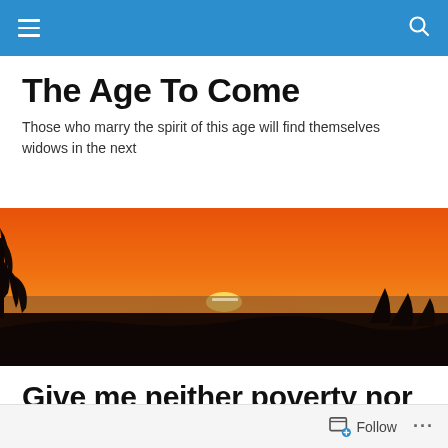Navigation bar with hamburger menu and search icon
The Age To Come
Those who marry the spirit of this age will find themselves widows in the next
[Figure (photo): Wide panoramic sunset photo showing a bright orange and red sky with sun partially below the horizon, silhouette of trees on the left, dark landscape in the foreground]
Give me neither poverty nor riches
Follow ...